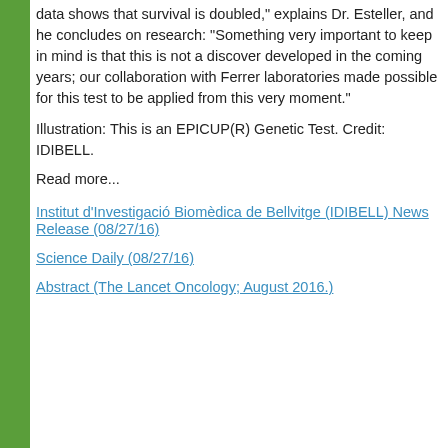data shows that survival is doubled," explains Dr. Esteller, and he concludes on research: "Something very important to keep in mind is that this is not a discover developed in the coming years; our collaboration with Ferrer laboratories made possible for this test to be applied from this very moment."
Illustration: This is an EPICUP(R) Genetic Test. Credit: IDIBELL.
Read more...
Institut d'Investigació Biomèdica de Bellvitge (IDIBELL) News Release (08/27/16)
Science Daily (08/27/16)
Abstract (The Lancet Oncology; August 2016.)